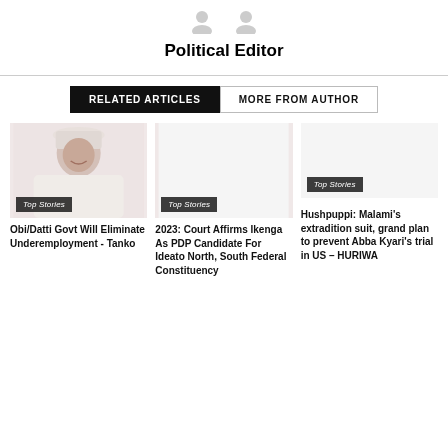[Figure (illustration): Two small person/avatar icons at top center]
Political Editor
RELATED ARTICLES   MORE FROM AUTHOR
[Figure (photo): Photo of a man wearing white traditional cap and outfit, smiling]
Top Stories
Obi/Datti Govt Will Eliminate Underemployment - Tanko
[Figure (photo): Placeholder image for article 2]
Top Stories
2023: Court Affirms Ikenga As PDP Candidate For Ideato North, South Federal Constituency
Top Stories
Hushpuppi: Malami's extradition suit, grand plan to prevent Abba Kyari's trial in US – HURIWA